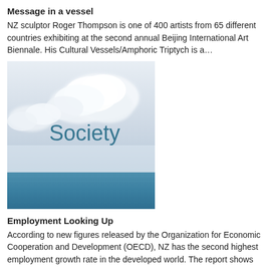Message in a vessel
NZ sculptor Roger Thompson is one of 400 artists from 65 different countries exhibiting at the second annual Beijing International Art Biennale. His Cultural Vessels/Amphoric Triptych is a…
[Figure (illustration): An image showing clouds in a light hazy sky above a calm blue ocean/sea, with the word 'Society' overlaid in teal/dark cyan text in the middle of the image.]
Employment Looking Up
According to new figures released by the Organization for Economic Cooperation and Development (OECD), NZ has the second highest employment growth rate in the developed world. The report shows